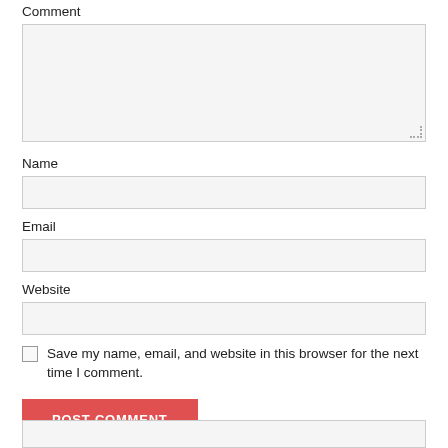Comment
Name
Email
Website
Save my name, email, and website in this browser for the next time I comment.
POST COMMENT